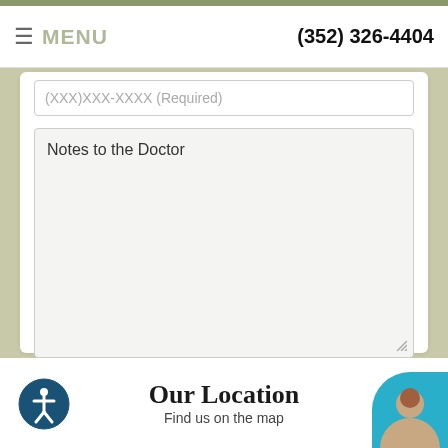MENU | (352) 326-4404
(XXX)XXX-XXXX (Required)
Notes to the Doctor
Please do not submit any Protected Health Information (PHI).
SUBMIT
Our Location
Find us on the map